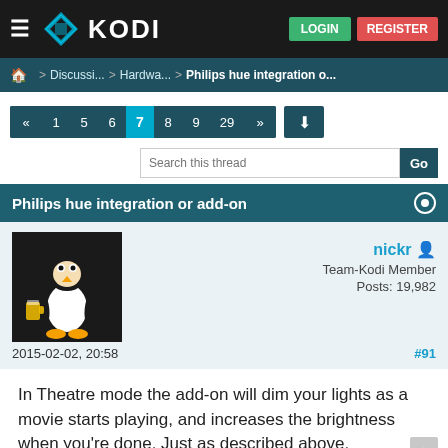KODI — LOGIN | REGISTER
🏠 > Discussi... > Hardwa... > Philips hue integration o...
« 1 5 6 7 8 9 29 » ↓
Search this thread  Go
Philips hue integration or add-on
nickr
Team-Kodi Member
Posts: 19,982
2015-02-02, 20:58   #91
In Theatre mode the add-on will dim your lights as a movie starts playing, and increases the brightness when you're done. Just as described above.